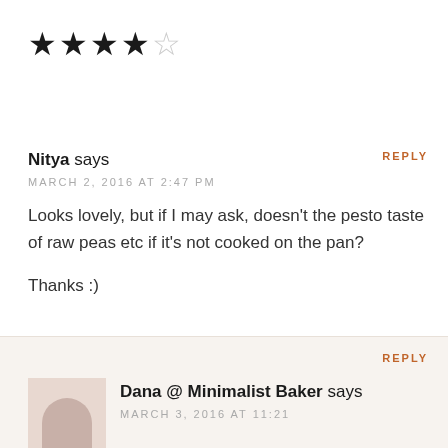[Figure (other): 4 out of 5 stars rating: 4 filled stars and 1 empty star]
REPLY
Nitya says
MARCH 2, 2016 AT 2:47 PM
Looks lovely, but if I may ask, doesn't the pesto taste of raw peas etc if it's not cooked on the pan?

Thanks :)
REPLY
Dana @ Minimalist Baker says
MARCH 3, 2016 AT 11:21